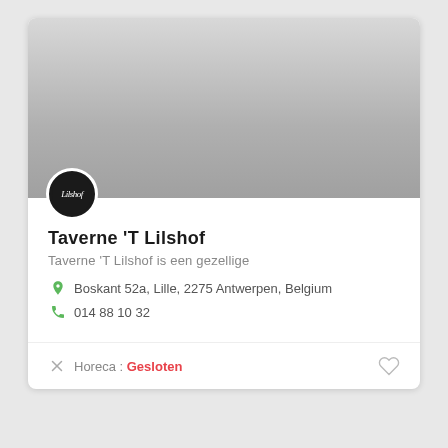[Figure (photo): Business listing card with a gray gradient hero image, circular logo avatar, business name, description, address, phone number, category and status]
Taverne 'T Lilshof
Taverne 'T Lilshof is een gezellige
Boskant 52a, Lille, 2275 Antwerpen, Belgium
014 88 10 32
Horeca : Gesloten